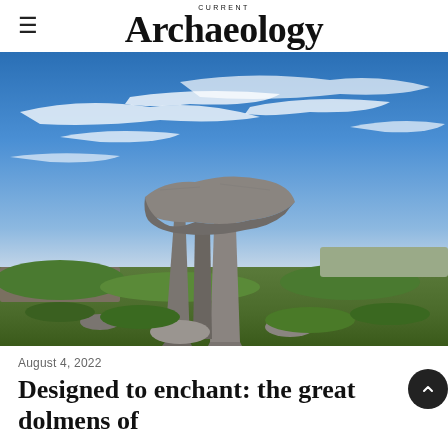CURRENT Archaeology
[Figure (photo): Photograph of a prehistoric dolmen (megalithic tomb) with large flat capstone resting on upright stones, set against a dramatic blue sky with wispy white clouds, with green vegetation and a dry stone wall in the background.]
August 4, 2022
Designed to enchant: the great dolmens of